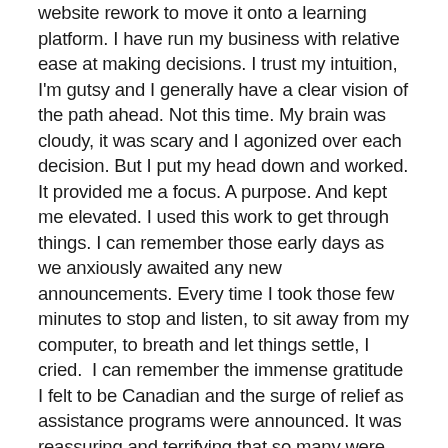website rework to move it onto a learning platform. I have run my business with relative ease at making decisions. I trust my intuition, I'm gutsy and I generally have a clear vision of the path ahead. Not this time. My brain was cloudy, it was scary and I agonized over each decision. But I put my head down and worked. It provided me a focus. A purpose. And kept me elevated. I used this work to get through things. I can remember those early days as we anxiously awaited any new announcements. Every time I took those few minutes to stop and listen, to sit away from my computer, to breath and let things settle, I cried.  I can remember the immense gratitude I felt to be Canadian and the surge of relief as assistance programs were announced. It was reassuring and terrifying that so many were going through the same thing.